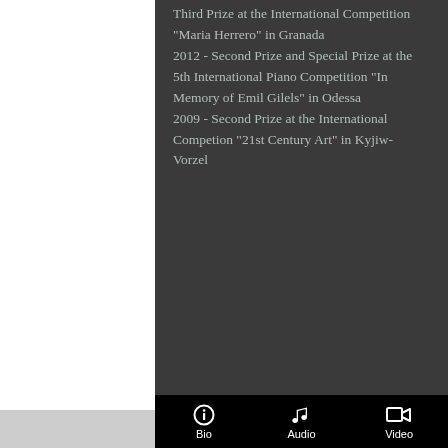Third Prize at the International Competition "Maria Herrero" in Granada
2012 - Second Prize and Special Prize at the 5th International Piano Competition "In Memory of Emil Gilels" in Odessa
2009 - Second Prize at the International Competion "21st Century Art" in Kyjiw-Vorzel
Bio  Audio  Video